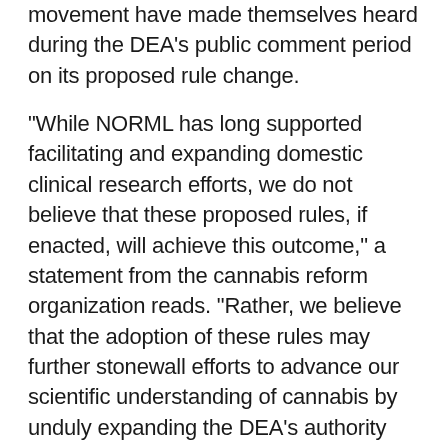influential forces within the cannabis reform movement have made themselves heard during the DEA's public comment period on its proposed rule change.
“While NORML has long supported facilitating and expanding domestic clinical research efforts, we do not believe that these proposed rules, if enacted, will achieve this outcome,” a statement from the cannabis reform organization reads. “Rather, we believe that the adoption of these rules may further stonewall efforts to advance our scientific understanding of cannabis by unduly expanding the DEA’s authority and control over decisions that ought to be left up to health experts and scientists.”